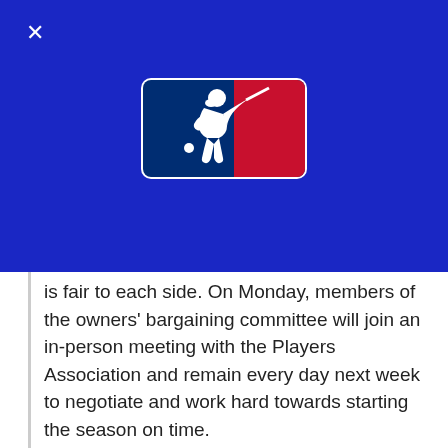[Figure (logo): MLB (Major League Baseball) logo — silhouette of a batter in white against a navy blue left panel and red right panel, within a rounded rectangle border]
is fair to each side. On Monday, members of the owners' bargaining committee will join an in-person meeting with the Players Association and remain every day next week to negotiate and work hard towards starting the season on time.